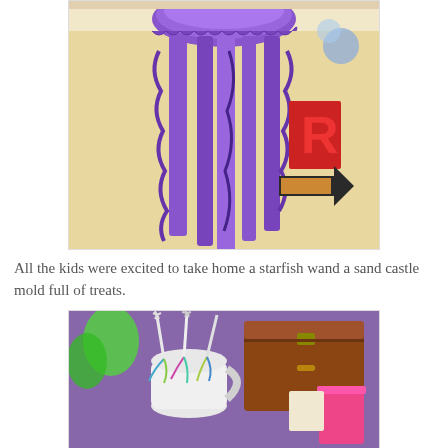[Figure (photo): A purple jellyfish-themed decoration hanging from the ceiling with purple streamers and ruffled ribbons, in a room with a red letter R and an arrow sign on the wall]
All the kids were excited to take home a starfish wand a sand castle mold full of treats.
[Figure (photo): White starfish wands with colorful ribbons standing in a white pitcher on a purple tablecloth, with a wooden treasure chest and pink bucket in the background]